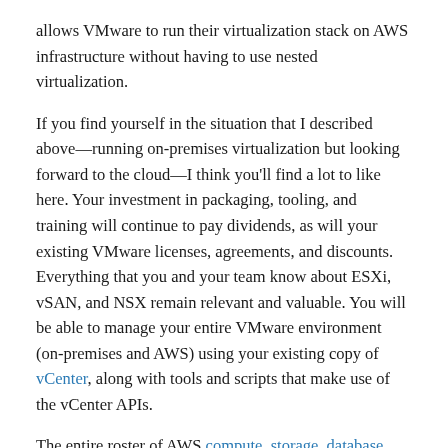allows VMware to run their virtualization stack on AWS infrastructure without having to use nested virtualization.
If you find yourself in the situation that I described above—running on-premises virtualization but looking forward to the cloud—I think you'll find a lot to like here. Your investment in packaging, tooling, and training will continue to pay dividends, as will your existing VMware licenses, agreements, and discounts. Everything that you and your team know about ESXi, vSAN, and NSX remain relevant and valuable. You will be able to manage your entire VMware environment (on-premises and AWS) using your existing copy of vCenter, along with tools and scripts that make use of the vCenter APIs.
The entire roster of AWS compute, storage, database, analytics, mobile, and IoT services can be directly accessed from your applications. Because your VMware applications will be running in the same data centers as the AWS services, you'll be able to benefit from fast, low-latency connectivity when you use these services to enhance or extend your applications. You'll also be able to take advantage of AWS migration tools such as AWS Database